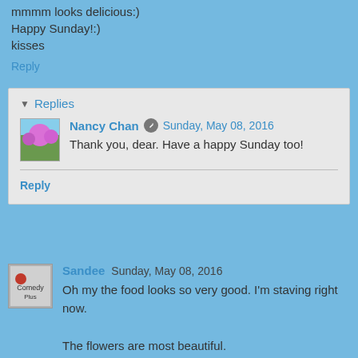mmmm looks delicious:)
Happy Sunday!:)
kisses
Reply
Replies
Nancy Chan  Sunday, May 08, 2016
Thank you, dear. Have a happy Sunday too!
Reply
Sandee  Sunday, May 08, 2016
Oh my the food looks so very good. I'm staving right now.

The flowers are most beautiful.

Have a fabulous day Nancy. ☺
Reply